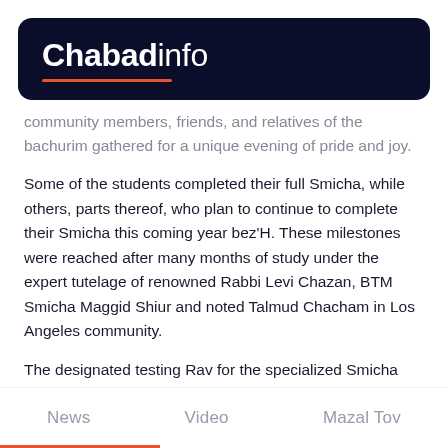Chabadinfo
community members, friends, and relatives of the bachurim gathered for a unique evening of pride and joy.
Some of the students completed their full Smicha, while others, parts thereof, who plan to continue to complete their Smicha this coming year bez'H. These milestones were reached after many months of study under the expert tutelage of renowned Rabbi Levi Chazan, BTM Smicha Maggid Shiur and noted Talmud Chacham in Los Angeles community.
The designated testing Rav for the specialized Smicha program is the esteemed HoRav Elchanan Tauber, the Rov of K'hal Bais Yehuda of Los Angeles, who has been a strong proponent of the Program since its inception. He was
News   Video   Mazal Tov